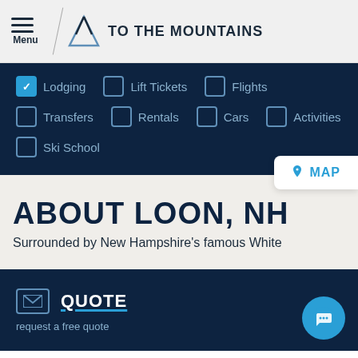Menu | TO THE MOUNTAINS
Lodging (checked)
Lift Tickets
Flights
Transfers
Rentals
Cars
Activities
Ski School
MAP
ABOUT LOON, NH
Surrounded by New Hampshire's famous White
QUOTE
request a free quote